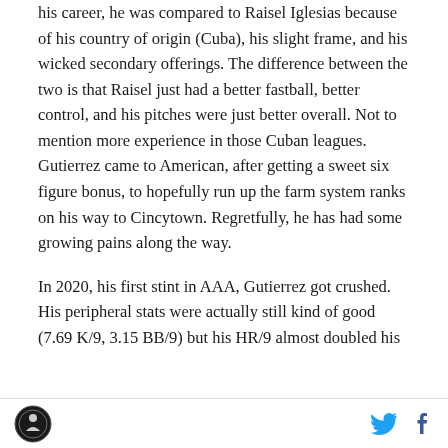his career, he was compared to Raisel Iglesias because of his country of origin (Cuba), his slight frame, and his wicked secondary offerings. The difference between the two is that Raisel just had a better fastball, better control, and his pitches were just better overall. Not to mention more experience in those Cuban leagues. Gutierrez came to American, after getting a sweet six figure bonus, to hopefully run up the farm system ranks on his way to Cincytown. Regretfully, he has had some growing pains along the way.
In 2020, his first stint in AAA, Gutierrez got crushed. His peripheral stats were actually still kind of good (7.69 K/9, 3.15 BB/9) but his HR/9 almost doubled his
[logo] [twitter] [facebook]